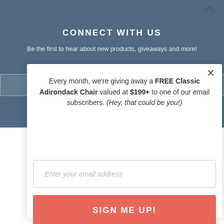CONNECT WITH US
Be the first to hear about new products, giveaways and more!
Every month, we're giving away a FREE Classic Adirondack Chair valued at $199+ to one of our email subscribers. (Hey, that could be you!)
Enter your email address
SIGN ME UP!
One (1) winner will be selected at random at the end of every month and contacted by email. U.S. entrants only.